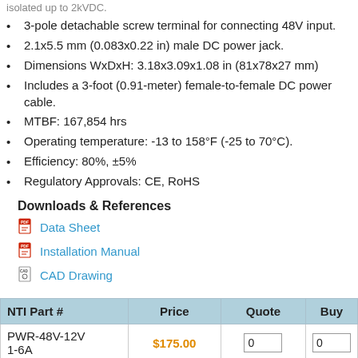3-pole detachable screw terminal for connecting 48V input.
2.1x5.5 mm (0.083x0.22 in) male DC power jack.
Dimensions WxDxH: 3.18x3.09x1.08 in (81x78x27 mm)
Includes a 3-foot (0.91-meter) female-to-female DC power cable.
MTBF: 167,854 hrs
Operating temperature: -13 to 158°F (-25 to 70°C).
Efficiency: 80%, ±5%
Regulatory Approvals: CE, RoHS
Downloads & References
Data Sheet
Installation Manual
CAD Drawing
| NTI Part # | Price | Quote | Buy |
| --- | --- | --- | --- |
| PWR-48V-12V 1-6A | $175.00 | 0 | 0 |